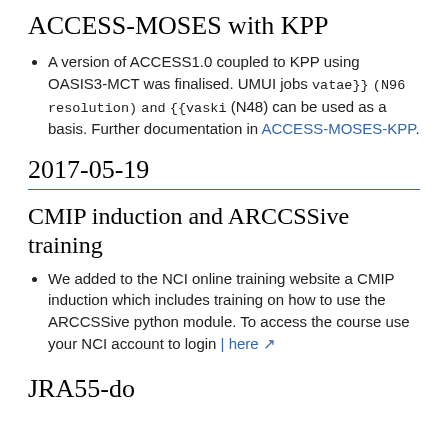ACCESS-MOSES with KPP
A version of ACCESS1.0 coupled to KPP using OASIS3-MCT was finalised. UMUI jobs vatae}} (N96 resolution) and {{vaski (N48) can be used as a basis. Further documentation in ACCESS-MOSES-KPP.
2017-05-19
CMIP induction and ARCCSSive training
We added to the NCI online training website a CMIP induction which includes training on how to use the ARCCSSive python module. To access the course use your NCI account to login | here
JRA55-do